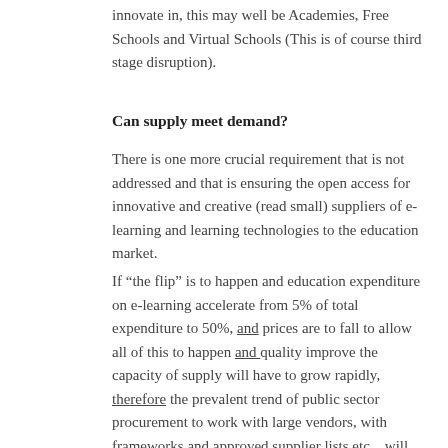innovate in, this may well be Academies, Free Schools and Virtual Schools (This is of course third stage disruption).
Can supply meet demand?
There is one more crucial requirement that is not addressed and that is ensuring the open access for innovative and creative (read small) suppliers of e-learning and learning technologies to the education market.
If “the flip” is to happen and education expenditure on e-learning accelerate from 5% of total expenditure to 50%, and prices are to fall to allow all of this to happen and quality improve the capacity of supply will have to grow rapidly, therefore the prevalent trend of public sector procurement to work with large vendors, with frameworks and approved supplier lists etc... will need some “innovative consideration” as well.